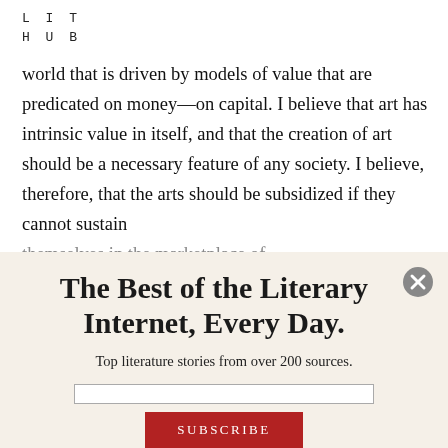LIT
HUB
world that is driven by models of value that are predicated on money—on capital. I believe that art has intrinsic value in itself, and that the creation of art should be a necessary feature of any society. I believe, therefore, that the arts should be subsidized if they cannot sustain themselves in the marketplace of
The Best of the Literary Internet, Every Day.
Top literature stories from over 200 sources.